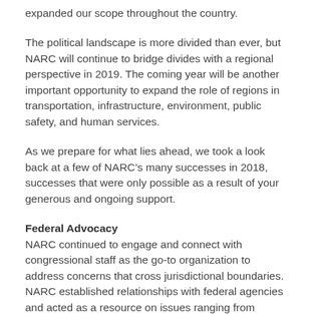expanded our scope throughout the country.
The political landscape is more divided than ever, but NARC will continue to bridge divides with a regional perspective in 2019. The coming year will be another important opportunity to expand the role of regions in transportation, infrastructure, environment, public safety, and human services.
As we prepare for what lies ahead, we took a look back at a few of NARC’s many successes in 2018, successes that were only possible as a result of your generous and ongoing support.
Federal Advocacy
NARC continued to engage and connect with congressional staff as the go-to organization to address concerns that cross jurisdictional boundaries. NARC established relationships with federal agencies and acted as a resource on issues ranging from alternative fuel vehicles to broadband. NARC held a series of summer legislative briefings to keep you up to date on federal issues, including